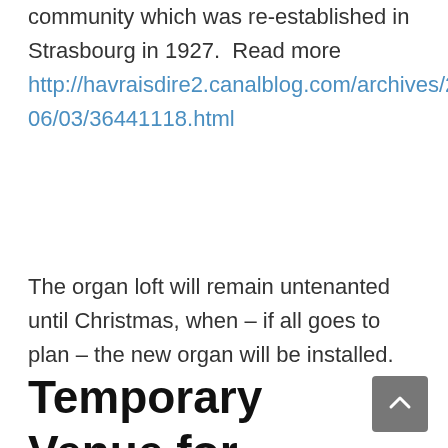community which was re-established in Strasbourg in 1927.  Read more http://havraisdire2.canalblog.com/archives/2018/06/03/36441118.html
The organ loft will remain untenanted until Christmas, when – if all goes to plan – the new organ will be installed.
Posted in Homepage Posts
Temporary Venue for